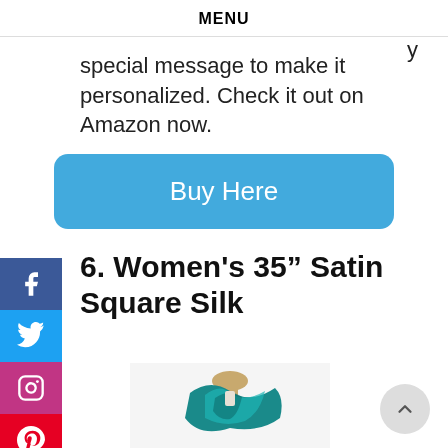MENU
special message to make it personalized. Check it out on Amazon now.
[Figure (other): Blue rounded rectangle button labeled 'Buy Here']
6. Women's 35” Satin Square Silk
[Figure (photo): Product photo of a teal/turquoise satin square silk scarf draped on a mannequin stand]